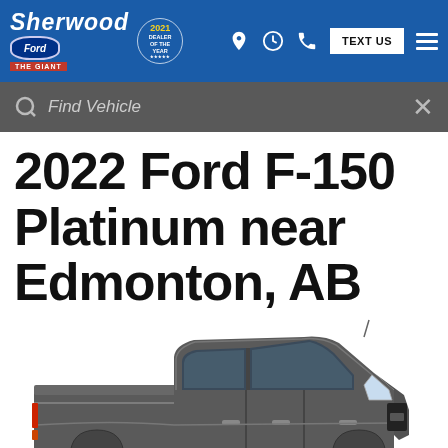Sherwood Ford — THE GIANT | 2021 Dealer of the Year | Find Vehicle | TEXT US
2022 Ford F-150 Platinum near Edmonton, AB
[Figure (photo): Side profile photo of a 2022 Ford F-150 Platinum truck in dark gray/charcoal color on a white background]